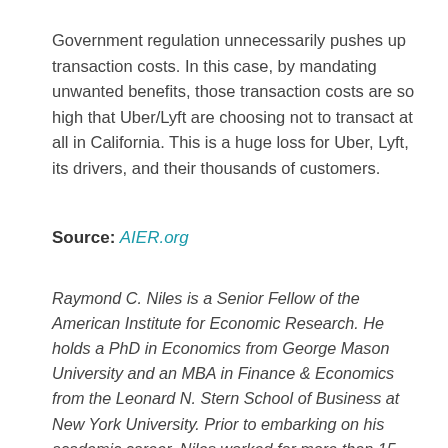Government regulation unnecessarily pushes up transaction costs. In this case, by mandating unwanted benefits, those transaction costs are so high that Uber/Lyft are choosing not to transact at all in California. This is a huge loss for Uber, Lyft, its drivers, and their thousands of customers.
Source: AIER.org
Raymond C. Niles is a Senior Fellow of the American Institute for Economic Research. He holds a PhD in Economics from George Mason University and an MBA in Finance & Economics from the Leonard N. Stern School of Business at New York University. Prior to embarking on his academic career, Niles worked for more than 15 years on Wall Street as a senior equity research analyst at Citigroup, Schroders, and Goldman Sachs, and